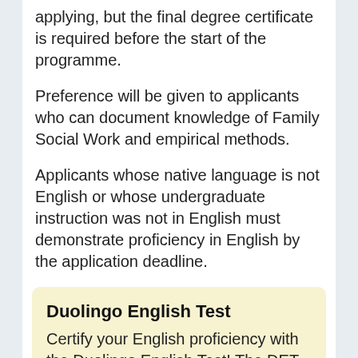applying, but the final degree certificate is required before the start of the programme.
Preference will be given to applicants who can document knowledge of Family Social Work and empirical methods.
Applicants whose native language is not English or whose undergraduate instruction was not in English must demonstrate proficiency in English by the application deadline.
Duolingo English Test
Certify your English proficiency with the Duolingo English Test! The DET is a convenient, fast, and affordable online English test accepted by over 4,000 universities around the world.
Take A Free Practice Test! >